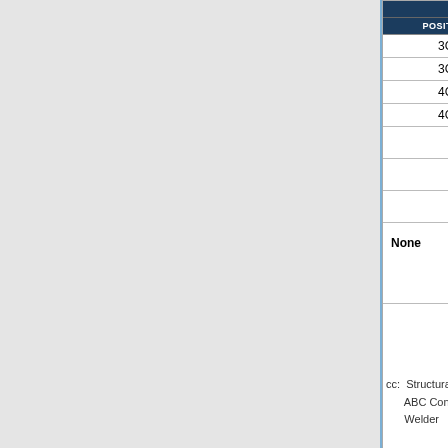| POSITION | SPECIMEN # | BEND TEST | RESULTS | TESTING INFO (truncated) |
| --- | --- | --- | --- | --- |
| 3G | 1 | Side Bend | Pass | Non... |
| 3G | 2 | Side Bend | Pass | Non... |
| 4G | 1 | Side Bend | Pass | Non... |
| 4G | 2 | Side Bend | Pass | Non... |
| OBSERVER | Observer |  |  | TEST... |
| TESTING AGENCY | XYZ Testing Company |  |  | FINA... |
| TESTING DATE | 1/4/17 |  |  | EXP... |
| REMARKS | None |  |  | SIG... |
cc: Structural Fabrication Unit (StructuralFabrication@michiga...
    ABC Construction
    Welder
Figure 707.14 - Sample Welder Certification Test...
[top of page]
Pile Welding
Steel piles are utilized in a variety of bridge foundation designs, and pile lengths beyond 50 feet are typically...